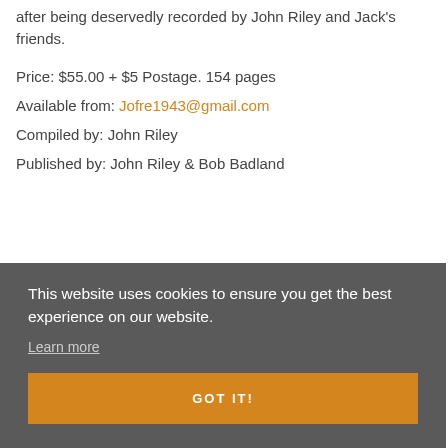after being deservedly recorded by John Riley and Jack's friends.
Price: $55.00 + $5 Postage. 154 pages
Available from: Jofre1943@gmail.com
Compiled by: John Riley
Published by: John Riley & Bob Badland
This website uses cookies to ensure you get the best experience on our website.
Learn more
GOT IT!